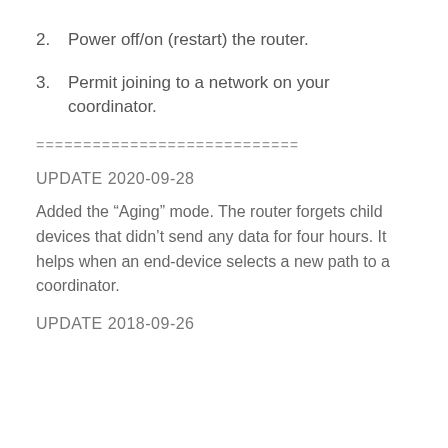2.  Power off/on (restart) the router.
3.  Permit joining to a network on your coordinator.
============================
UPDATE 2020-09-28
Added the “Aging” mode. The router forgets child devices that didn’t send any data for four hours. It helps when an end-device selects a new path to a coordinator.
UPDATE 2018-09-26